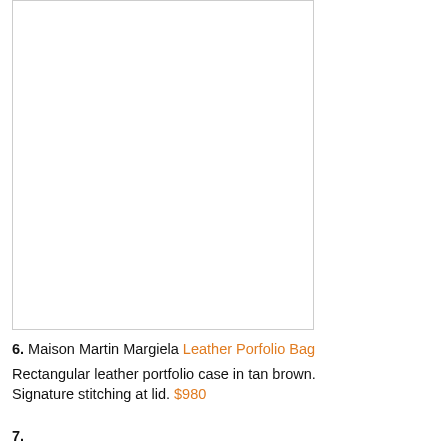[Figure (photo): White/blank image area showing a leather portfolio bag product photo (image area appears empty/white in this view)]
6. Maison Martin Margiela Leather Porfolio Bag
Rectangular leather portfolio case in tan brown. Signature stitching at lid. $980
7. ...